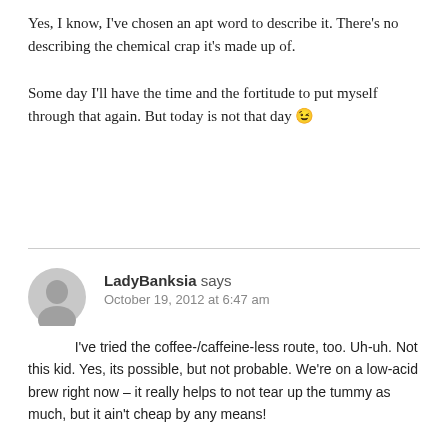Yes, I know, I've chosen an apt word to describe it. There's no describing the chemical crap it's made up of.

Some day I'll have the time and the fortitude to put myself through that again. But today is not that day 😉
LadyBanksia says
October 19, 2012 at 6:47 am

I've tried the coffee-/caffeine-less route, too. Uh-uh. Not this kid. Yes, its possible, but not probable. We're on a low-acid brew right now – it really helps to not tear up the tummy as much, but it ain't cheap by any means!

Hubs is drinking tea these mornings, for whatever